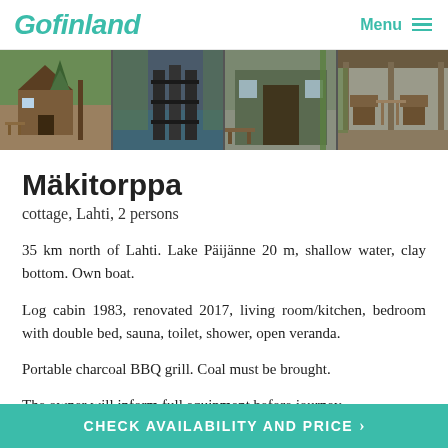Gofinland  Menu
[Figure (photo): Four-panel photo strip of a Finnish cottage: log cabin exterior, wooden dock over lake, cottage entrance with bench, covered veranda with furniture]
Mäkitorppa
cottage, Lahti, 2 persons
35 km north of Lahti. Lake Päijänne 20 m, shallow water, clay bottom. Own boat.
Log cabin 1983, renovated 2017, living room/kitchen, bedroom with double bed, sauna, toilet, shower, open veranda.
Portable charcoal BBQ grill. Coal must be brought.
The owner will inform full equipment before journey...
CHECK AVAILABILITY AND PRICE >